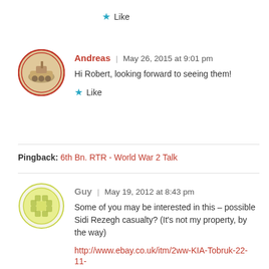★ Like
Andreas | May 26, 2015 at 9:01 pm
[Figure (photo): Circular avatar photo of a military tank, with a red double-circle border]
Hi Robert, looking forward to seeing them!
★ Like
Pingback: 6th Bn. RTR - World War 2 Talk
[Figure (logo): Circular avatar with green/yellow decorative pattern (Gravatar icon)]
Guy | May 19, 2012 at 8:43 pm
Some of you may be interested in this – possible Sidi Rezegh casualty? (It's not my property, by the way)
http://www.ebay.co.uk/itm/2ww-KIA-Tobruk-22-11-